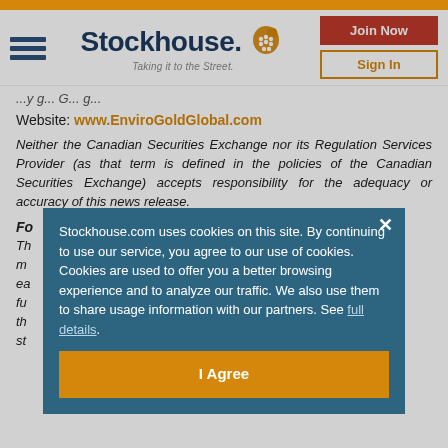Stockhouse - Taking it to the Street.
Website: www.EnviroGoldGlobal.com
Neither the Canadian Securities Exchange nor its Regulation Services Provider (as that term is defined in the policies of the Canadian Securities Exchange) accepts responsibility for the adequacy or accuracy of this news release.
Fo...
Th... me m... n, ea... nd fu... in th... ng st...
Stockhouse.com uses cookies on this site. By continuing to use our service, you agree to our use of cookies. Cookies are used to offer you a better browsing experience and to analyze our traffic. We also use them to share usage information with our partners. See full details.